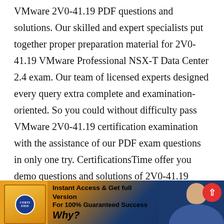VMware 2V0-41.19 PDF questions and solutions. Our skilled and expert specialists put together proper preparation material for 2V0-41.19 VMware Professional NSX-T Data Center 2.4 exam. Our team of licensed experts designed every query extra complete and examination-oriented. So you could without difficulty pass VMware 2V0-41.19 certification examination with the assistance of our PDF exam questions in only one try. CertificationsTime offer you demo questions and solutions of 2V0-41.19 practice questions and 100% money back assurance if you do not pass on the first attempt.
[Figure (infographic): Banner advertisement with yellow product box on the left, text 'Instant Access & Get full Version For 100% Guaranteed Success Why?' in the middle, a person smiling on the right, and a red circle with upward arrow in top-right corner.]